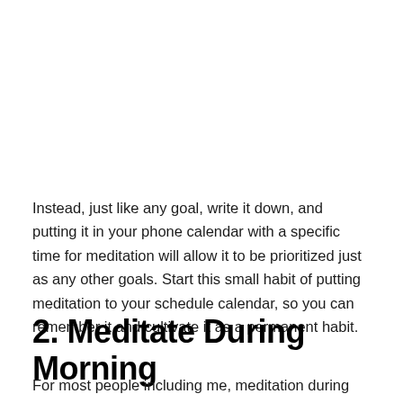Instead, just like any goal, write it down, and putting it in your phone calendar with a specific time for meditation will allow it to be prioritized just as any other goals. Start this small habit of putting meditation to your schedule calendar, so you can remember it and cultivate it as a permanent habit.
2. Meditate During Morning
For most people including me, meditation during the morning